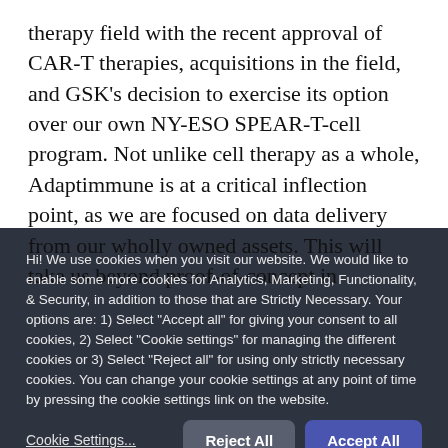therapy field with the recent approval of CAR-T therapies, acquisitions in the field, and GSK's decision to exercise its option over our own NY-ESO SPEAR-T-cell program. Not unlike cell therapy as a whole, Adaptimmune is at a critical inflection point, as we are focused on data delivery from our wholly owned assets. This will take us beyond proof-of-concept in
Hi! We use cookies when you visit our website. We would like to enable some more cookies for Analytics, Marketing, Functionality, & Security, in addition to those that are Strictly Necessary. Your options are: 1) Select "Accept all" for giving your consent to all cookies, 2) Select "Cookie settings" for managing the different cookies or 3) Select "Reject all" for using only strictly necessary cookies. You can change your cookie settings at any point of time by pressing the cookie settings link on the website.
Cookie Settings...
Reject All
Accept All